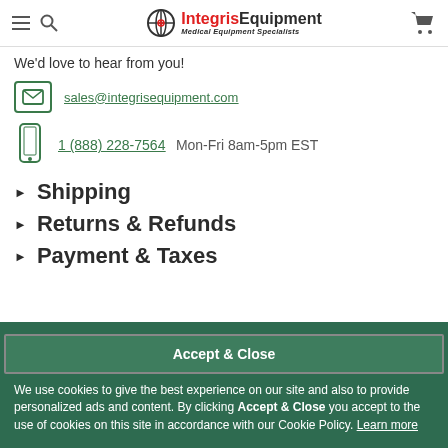Integris Equipment — Medical Equipment Specialists
We'd love to hear from you!
sales@integrisequipment.com
1 (888) 228-7564   Mon-Fri 8am-5pm EST
▶  Shipping
▶  Returns & Refunds
▶  Payment & Taxes
Accept & Close
We use cookies to give the best experience on our site and also to provide personalized ads and content. By clicking Accept & Close you accept to the use of cookies on this site in accordance with our Cookie Policy. Learn more